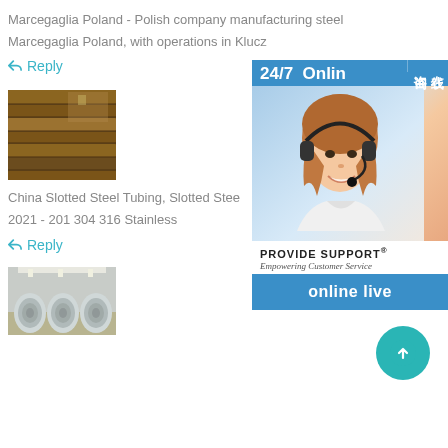Marcegaglia Poland - Polish company manufacturing steel
Marcegaglia Poland, with operations in Klucz
↩ Reply
[Figure (photo): Thumbnail image of stacked rusty steel beams or lumber]
[Figure (infographic): Ad overlay: 24/7 Online support chat widget with Chinese text '在线咨询', photo of smiling woman with headset, PROVIDE SUPPORT Empowering Customer Service, and 'online live' button]
China Slotted Steel Tubing, Slotted Stee
2021 - 201 304 316 Stainless
↩ Reply
[Figure (photo): Thumbnail image of stainless steel coils in a warehouse]